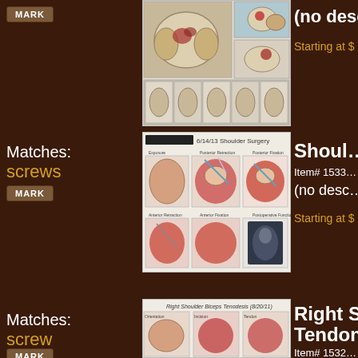[Figure (photo): Medical illustration of pelvic surgery/anatomy with multiple panels showing surgical procedure]
(no desc
Starting at $
Matches:
screws
[Figure (photo): 6/14/13 Shoulder Surgery medical illustration showing Exposure, Posterior Retraction, Posterior Fixation views with Anterior Retraction, Anterior Fixation, and Postoperative Function panels]
Shoul
Item# 1533
(no desc
Starting at $
Matches:
screw
[Figure (photo): Right Shoulder Biceps Tenodesis (8/20/11) medical illustration]
Right S Tendon
Item# 1532